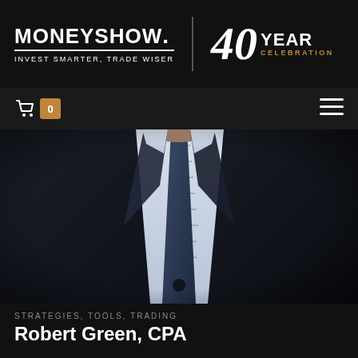MONEYSHOW. INVEST SMARTER, TRADE WISER | 40 YEAR CELEBRATION
[Figure (photo): Professional headless torso of a man in a dark navy suit with white dress shirt and navy tie, photographed from the neck down against a blurred background]
STRATEGIES, TOOLS, TRADING
Robert Green, CPA